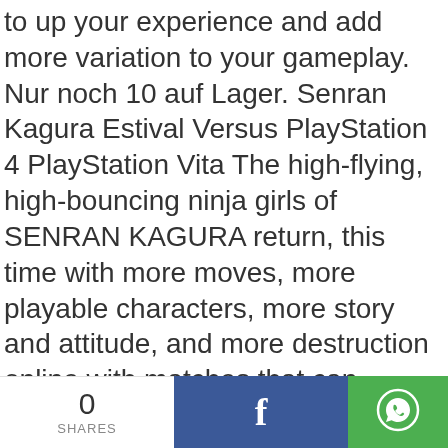to up your experience and add more variation to your gameplay. Nur noch 10 auf Lager. Senran Kagura Estival Versus PlayStation 4 PlayStation Vita The high-flying, high-bouncing ninja girls of SENRAN KAGURA return, this time with more moves, more playable characters, more story and attitude, and more destruction online with matches that can support up to 10 players ... Read more. In Senran Kagura Estival Versus werden die sexy Shinobi-Kriegerinnen auf eine idyllische Insel transportiert. Comments are welcome and encouraged on Gematsu. Monster Hunter Riders announced for iOS, Android, Thronebreaker: The Witcher Tales now
0 SHARES